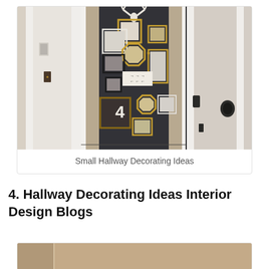[Figure (photo): A small hallway with a dark charcoal/black accent wall decorated with a gallery wall of picture frames in various sizes and styles (gold, black, white frames), arrows sign, number '4', and a decorative antler mount at top. White door frames visible on left and right.]
Small Hallway Decorating Ideas
4. Hallway Decorating Ideas Interior Design Blogs
[Figure (photo): Partial view of another hallway decorating photo, cropped at bottom of page.]